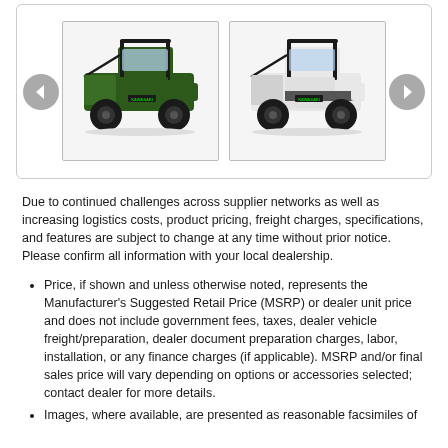[Figure (photo): Two Kawasaki utility task vehicles (UTVs) shown side by side. Left vehicle is dark green, right vehicle is white/silver. Both are small utility vehicles with roll cages and cargo beds.]
Due to continued challenges across supplier networks as well as increasing logistics costs, product pricing, freight charges, specifications, and features are subject to change at any time without prior notice. Please confirm all information with your local dealership.
Price, if shown and unless otherwise noted, represents the Manufacturer's Suggested Retail Price (MSRP) or dealer unit price and does not include government fees, taxes, dealer vehicle freight/preparation, dealer document preparation charges, labor, installation, or any finance charges (if applicable). MSRP and/or final sales price will vary depending on options or accessories selected; contact dealer for more details.
Images, where available, are presented as reasonable facsimiles of